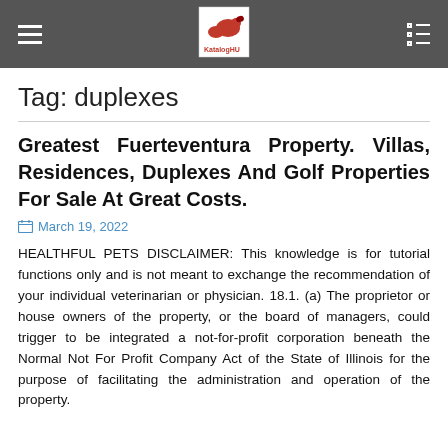KatalogHU
Tag: duplexes
Greatest Fuerteventura Property. Villas, Residences, Duplexes And Golf Properties For Sale At Great Costs.
March 19, 2022
HEALTHFUL PETS DISCLAIMER: This knowledge is for tutorial functions only and is not meant to exchange the recommendation of your individual veterinarian or physician. 18.1. (a) The proprietor or house owners of the property, or the board of managers, could trigger to be integrated a not-for-profit corporation beneath the Normal Not For Profit Company Act of the State of Illinois for the purpose of facilitating the administration and operation of the property.